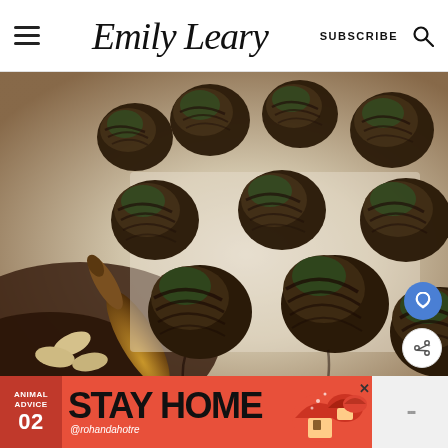Emily Leary   SUBSCRIBE
[Figure (photo): Chocolate-covered green matcha truffle balls drizzled with dark chocolate stripes, arranged on parchment paper with a wooden knife and cashew nuts visible in the foreground.]
[Figure (infographic): Advertisement banner: coral/red background with 'ANIMAL ADVICE 02 STAY HOME @rohandahotre' text and an illustrated mushroom house graphic.]